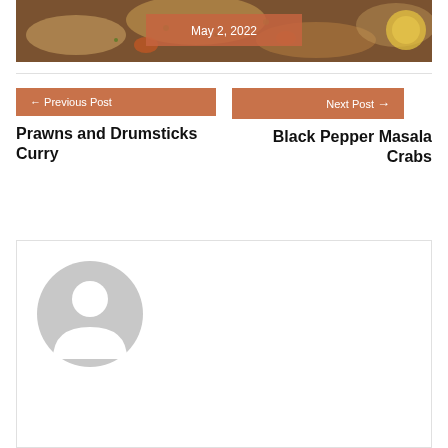[Figure (photo): Food photo showing biryani/rice dish with prawns and vegetables, partially visible at the top of the page]
May 2, 2022
← Previous Post
Prawns and Drumsticks Curry
Next Post →
Black Pepper Masala Crabs
[Figure (illustration): Default user avatar placeholder — grey circle with person silhouette inside a bordered box]